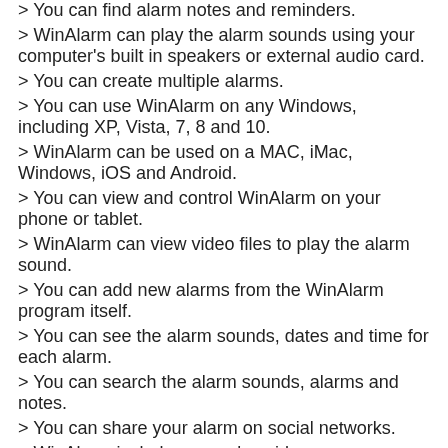> You can find alarm notes and reminders.
> WinAlarm can play the alarm sounds using your computer's built in speakers or external audio card.
> You can create multiple alarms.
> You can use WinAlarm on any Windows, including XP, Vista, 7, 8 and 10.
> WinAlarm can be used on a MAC, iMac, Windows, iOS and Android.
> You can view and control WinAlarm on your phone or tablet.
> WinAlarm can view video files to play the alarm sound.
> You can add new alarms from the WinAlarm program itself.
> You can see the alarm sounds, dates and time for each alarm.
> You can search the alarm sounds, alarms and notes.
> You can share your alarm on social networks.
> WinAlarm includes a user's guide.